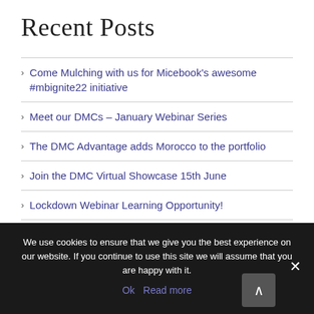Recent Posts
Come Mulching with us for Micebook's awesome #mbignite22 initiative
Meet our DMCs – January Webinar Series
The DMC Advantage adds Morocco to the portfolio
Join the DMC Virtual Showcase 15th June
Lockdown Webinar Learning Opportunity!
We use cookies to ensure that we give you the best experience on our website. If you continue to use this site we will assume that you are happy with it.
Ok  Read more